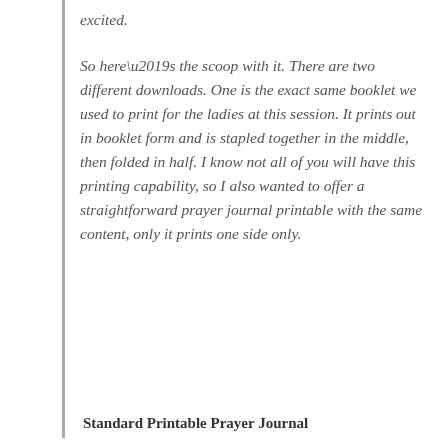excited.
So here’s the scoop with it. There are two different downloads. One is the exact same booklet we used to print for the ladies at this session. It prints out in booklet form and is stapled together in the middle, then folded in half. I know not all of you will have this printing capability, so I also wanted to offer a straightforward prayer journal printable with the same content, only it prints one side only.
Standard Printable Prayer Journal